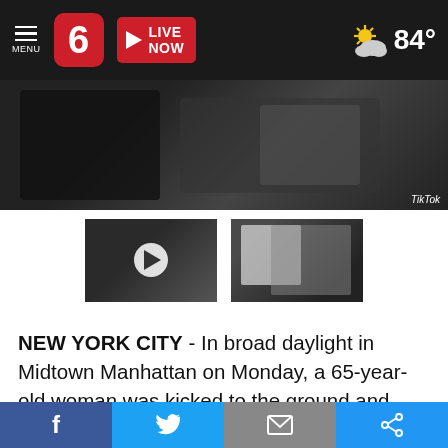News 6 - LIVE NOW - 84°
[Figure (screenshot): Main video thumbnail showing a subway/indoor scene, with TikTok watermark]
[Figure (screenshot): Two video thumbnails: left has a play button overlay on a dark scene, right shows a man in a white shirt in a subway]
NEW YORK CITY - In broad daylight in Midtown Manhattan on Monday, a 65-year-old woman was kicked to the ground and stomped on by a man who police say made "anti-Asian statements." The very same day, police said they were investigating after an Asian man was left unconscious during an attack
Facebook | Twitter | Email | Share